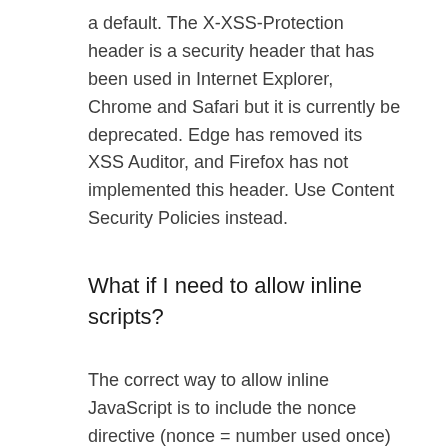a default. The X-XSS-Protection header is a security header that has been used in Internet Explorer, Chrome and Safari but it is currently be deprecated. Edge has removed its XSS Auditor, and Firefox has not implemented this header. Use Content Security Policies instead.
What if I need to allow inline scripts?
The correct way to allow inline JavaScript is to include the nonce directive (nonce = number used once) or use a hash of the inline script. These values should then rather be placed in the script-src directive than in the default-src one. For more details on how to do this, see https://developer.mozilla.org/en-US/docs/Web/HTTP/Headers/Content-Security-Policy/script-src#Unsafe_inline_script.